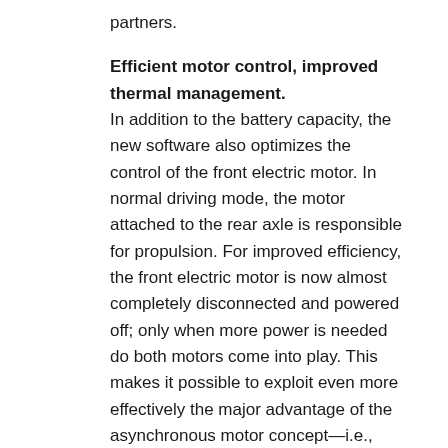partners.
Efficient motor control, improved thermal management.
In addition to the battery capacity, the new software also optimizes the control of the front electric motor. In normal driving mode, the motor attached to the rear axle is responsible for propulsion. For improved efficiency, the front electric motor is now almost completely disconnected and powered off; only when more power is needed do both motors come into play. This makes it possible to exploit even more effectively the major advantage of the asynchronous motor concept—i.e., currentless operation without electrical drag losses.
Furthermore, the update also improves cooling. The highly flexible thermal management system, which consists of four separate circuits, regulates the temperature of the high-voltage components even more efficiently. Modifying the control system made it possible to reduce the volume flow rates in the coolant circuit, thus reducing energy consumption. The cooling system is